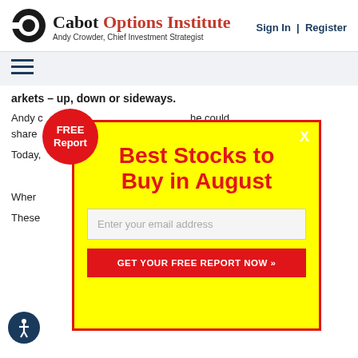[Figure (logo): Cabot Options Institute logo with circular C icon]
Cabot Options Institute
Andy Crowder, Chief Investment Strategist
Sign In | Register
[Figure (other): Hamburger menu icon (three horizontal lines)]
markets – up, down or sideways.
Andy c... he could share... super-rich
Today,... rvices for
Wher... ou get all
These... le returns... chance of
[Figure (other): FREE Report red circular badge overlay on popup]
FREE Report
Best Stocks to Buy in August
Enter your email address
GET YOUR FREE REPORT NOW »
[Figure (other): Accessibility icon - person in circle]